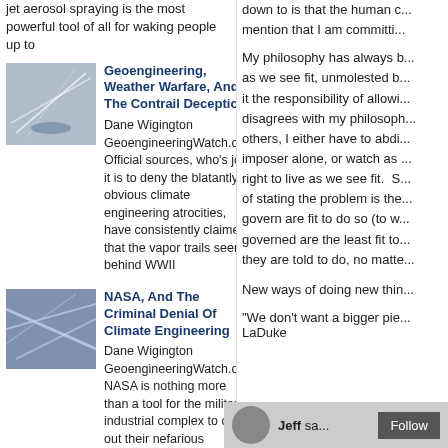jet aerosol spraying is the most powerful tool of all for waking people up to
Geoengineering, Weather Warfare, And The Contrail Deception — Dane Wigington GeoengineeringWatch.org Official sources, who's job it is to deny the blatantly obvious climate engineering atrocities, have consistently claimed that the vapor trails seen behind WWII
NASA, And The Criminal Denial Of Climate Engineering — Dane Wigington GeoengineeringWatch.org NASA is nothing more than a tool for the military industrial complex to carry out their nefarious agendas and to cover up their
High Bypass Turbofan Jet Engines, Geoengineering, And The Contrail Lie — Dane Wigington GeoengineeringWatch.org Refuting the
down to is that the human c... mention that I am committi...
My philosophy has always b... as we see fit, unmolested b... it the responsibility of allowi... disagrees with my philosoph... others, I either have to abdi... imposer alone, or watch as ... right to live as we see fit.  S... of stating the problem is the... govern are fit to do so (to w... governed are the least fit to... they are told to do, no matte...
New ways of doing new thin...
"We don't want a bigger pie... LaDuke
Jeff sa...